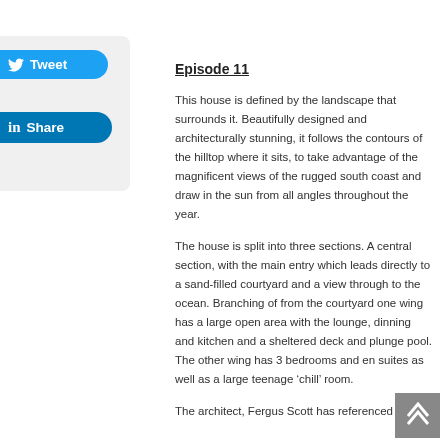Episode 11
This house is defined by the landscape that surrounds it. Beautifully designed and architecturally stunning, it follows the contours of the hilltop where it sits, to take advantage of the magnificent views of the rugged south coast and draw in the sun from all angles throughout the year.
The house is split into three sections. A central section, with the main entry which leads directly to a sand-filled courtyard and a view through to the ocean. Branching of from the courtyard one wing has a large open area with the lounge, dinning and kitchen and a sheltered deck and plunge pool. The other wing has 3 bedrooms and en suites as well as a large teenage ‘chill’ room.
The architect, Fergus Scott has referenced the